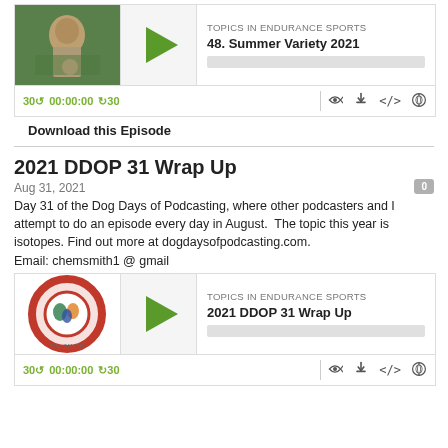[Figure (screenshot): Podcast player widget for episode 48. Summer Variety 2021, Topics in Endurance Sports, with play button, progress bar, and controls (30 back, 00:00:00, forward 30, RSS, download, embed, share icons). Thumbnail shows a person in athletic wear holding a medal outdoors.]
Download this Episode
2021 DDOP 31 Wrap Up
Aug 31, 2021
Day 31 of the Dog Days of Podcasting, where other podcasters and I attempt to do an episode every day in August.  The topic this year is isotopes. Find out more at dogdaysofpodcasting.com.
Email: chemsmith1 @ gmail
[Figure (screenshot): Podcast player widget for episode 2021 DDOP 31 Wrap Up, Topics in Endurance Sports, with play button, progress bar, and controls (30 back, 00:00:00, forward 30, RSS, download, embed, share icons). Thumbnail shows the Topics in Endurance Sports podcast logo with circular design and runners.]